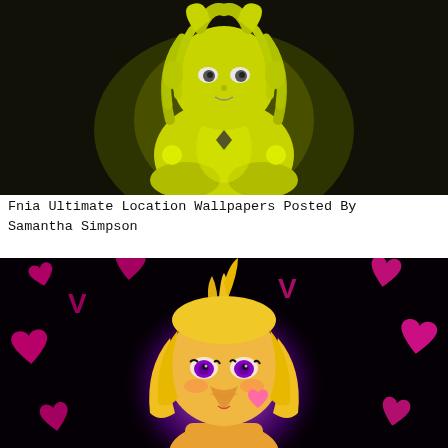[Figure (illustration): Anime-style illustration of a yellow-green glowing character resembling a cute animatronic creature sitting in a dark background, with glowing yellow-green hues and hair covering its face partially.]
Fnia Ultimate Location Wallpapers Posted By Samantha Simpson
[Figure (illustration): Anime-style illustration of a yellow-skinned character with blonde hair and purple eyes, surrounded by pink/magenta heart symbols on a black background with a purple glow aura behind the character.]